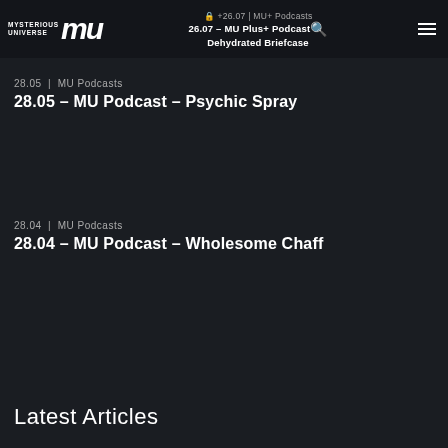+26.07 | MU+ Podcasts | 26.07 – MU Plus+ Podcast – Dehydrated Briefcase
28.05  |  MU Podcasts
28.05 – MU Podcast – Psychic Spray
28.04  |  MU Podcasts
28.04 – MU Podcast – Wholesome Chaff
Latest Articles